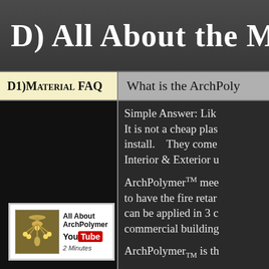D) All About the Mate…
| D1) MATERIAL FAQ | What is the ArchPoly… |
| --- | --- |
| [video: All About ArchPolymer, YouTube, 2 Minutes] | Simple Answer: Lik… It is not a cheap plas… install. They come… Interior & Exterior u…

ArchPolymerTM mee… to have the fire retar… can be applied in 3 c… commercial building…

ArchPolymerTM is th… |